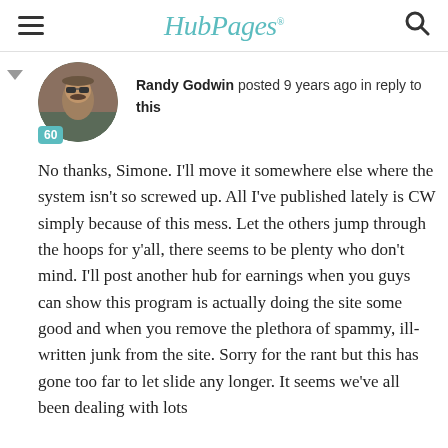HubPages
[Figure (photo): Circular avatar photo of Randy Godwin, a man wearing sunglasses outdoors. Badge showing '60' in teal at bottom-left of avatar.]
Randy Godwin posted 9 years ago in reply to this
No thanks, Simone.  I'll move it somewhere else where the system isn't so screwed up.  All I've published lately is CW simply because of this mess.  Let the others jump through the hoops for y'all, there seems to be plenty who don't mind.  I'll post another hub for earnings when you guys can show this program is actually doing the site some good and when you remove the plethora of spammy, ill-written junk from the site.  Sorry for the rant but this has gone too far to let slide any longer.  It seems we've all been dealing with lots